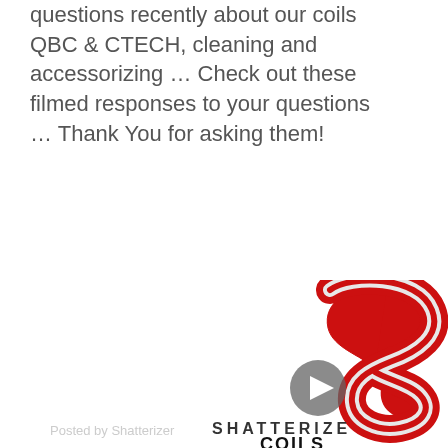questions recently about our coils QBC & CTECH, cleaning and accessorizing … Check out these filmed responses to your questions … Thank You for asking them!
[Figure (logo): Shatterizer Coils logo: red stylized flame/S shape above the text SHATTERIZE COILS, with a video play button overlay on the graphic]
Posted by Shatterizer